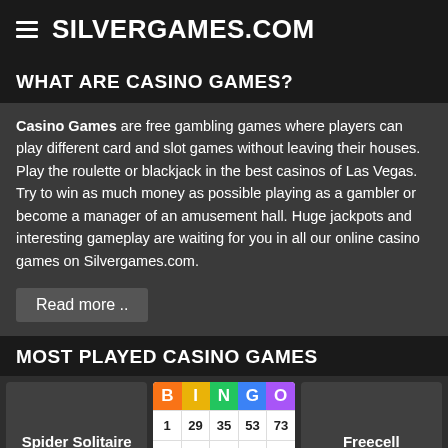SILVERGAMES.COM
WHAT ARE CASINO GAMES?
Casino Games are free gambling games where players can play different card and slot games without leaving their houses. Play the roulette or blackjack in the best casinos of Las Vegas. Try to win as much money as possible playing as a gambler or become a manager of an amusement hall. Huge jackpots and interesting gameplay are waiting for you in all our online casino games on Silvergames.com.
Read more ..
MOST PLAYED CASINO GAMES
[Figure (other): Game cards row: Spider Solitaire card, Bingo card showing BINGO header with colored letters and number grid (1 29 35 53 73 / 8 21 40 56 67 / 13 22 [green dot] 46 72), Freecell card]